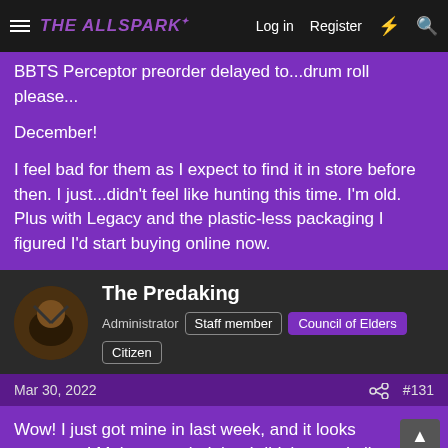THE ALLSPARK | Log in | Register
BBTS Perceptor preorder delayed to...drum roll please...

December!

I feel bad for them as I expect to find it in store before then. I just...didn't feel like hunting this time. I'm old. Plus with Legacy and the plastic-less packaging I figured I'd start buying online now.
The Predaking
Administrator | Staff member | Council of Elders | Citizen
Mar 30, 2022 | #131
Wow! I just got mine in last week, and it looks awesome! Makes me glad that I didn't spend all the $$$ to try to get the Titans Return toy again.
spikeriley